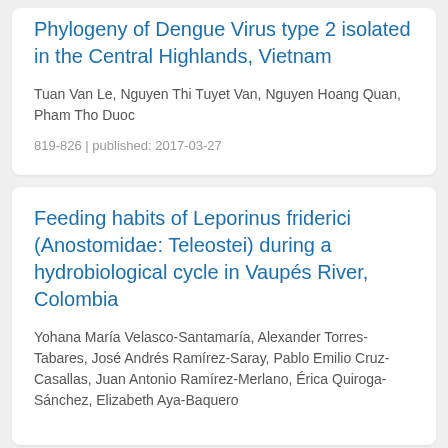Phylogeny of Dengue Virus type 2 isolated in the Central Highlands, Vietnam
Tuan Van Le, Nguyen Thi Tuyet Van, Nguyen Hoang Quan, Pham Tho Duoc
819-826 | published: 2017-03-27
Feeding habits of Leporinus friderici (Anostomidae: Teleostei) during a hydrobiological cycle in Vaupés River, Colombia
Yohana María Velasco-Santamaría, Alexander Torres-Tabares, José Andrés Ramírez-Saray, Pablo Emilio Cruz-Casallas, Juan Antonio Ramírez-Merlano, Érica Quiroga-Sánchez, Elizabeth Aya-Baquero